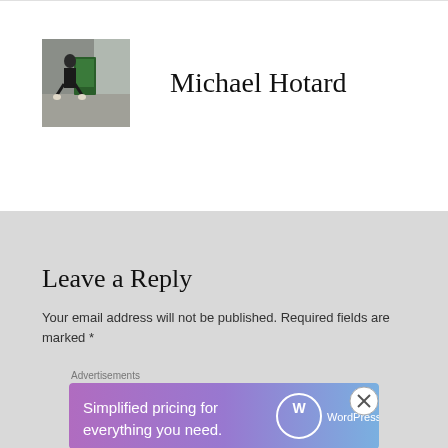[Figure (photo): Profile photo of a person crouching next to a green street advertisement board on a city sidewalk]
Michael Hotard
Leave a Reply
Your email address will not be published. Required fields are marked *
Advertisements
[Figure (screenshot): WordPress.com advertisement banner: 'Simplified pricing for everything you need.' with WordPress.com logo on gradient purple-pink background]